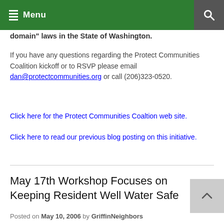Menu
domain" laws in the State of Washington.
If you have any questions regarding the Protect Communities Coalition kickoff or to RSVP please email dan@protectcommunities.org or call (206)323-0520.
Click here for the Protect Communities Coaltion web site.
Click here to read our previous blog posting on this initiative.
May 17th Workshop Focuses on Keeping Resident Well Water Safe
Posted on May 10, 2006 by GriffinNeighbors
The Thurston County Department of Public Health and